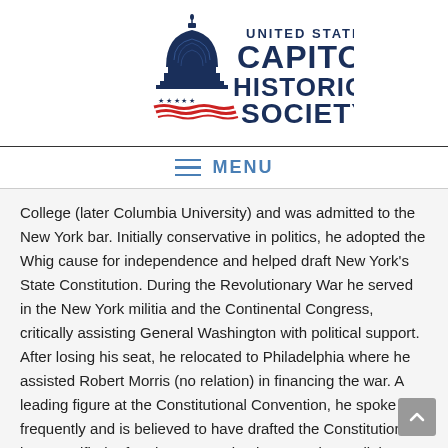[Figure (logo): United States Capitol Historical Society logo with Capitol dome and red/white/blue design]
MENU
College (later Columbia University) and was admitted to the New York bar. Initially conservative in politics, he adopted the Whig cause for independence and helped draft New York's State Constitution. During the Revolutionary War he served in the New York militia and the Continental Congress, critically assisting General Washington with political support. After losing his seat, he relocated to Philadelphia where he assisted Robert Morris (no relation) in financing the war. A leading figure at the Constitutional Convention, he spoke frequently and is believed to have drafted the Constitution as it was ratified. After the Convention he served as a diplomat in Europe during the Washington administration and completed a term in the US Senate. After chairing the Erie Canal